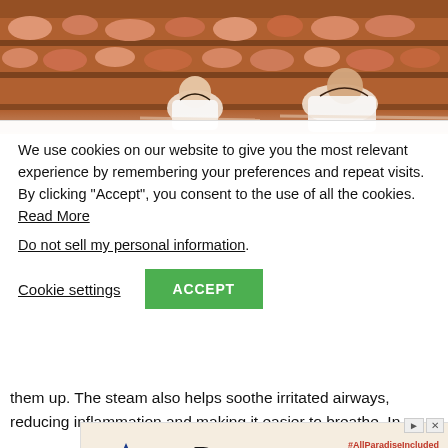[Figure (photo): Two people lying down in white robes in a salt therapy room with wooden shelves stacked with pink Himalayan salt rocks]
We use cookies on our website to give you the most relevant experience by remembering your preferences and repeat visits. By clicking “Accept”, you consent to the use of all the cookies. Read More
Do not sell my personal information.
Cookie settings   ACCEPT
them up. The steam also helps soothe irritated airways, reducing inflammation and making it easier to breathe. In
[Figure (screenshot): Advertisement for Royal Resorts / Royal Luno Resort showing opening date June 28, 2022, hashtag #AllParadiseIncluded, phone number 888-721-4453, website royalunoresort.com, and Book Now button]